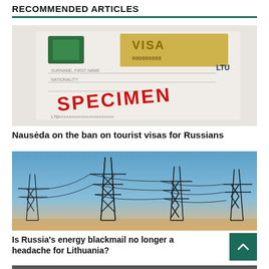RECOMMENDED ARTICLES
[Figure (photo): Close-up of a Lithuanian visa document with SPECIMEN stamped in red, showing visa sticker with LTU code and barcode]
Nausėda on the ban on tourist visas for Russians
[Figure (photo): Silhouettes of high-voltage electricity transmission towers/pylons against a blue and orange sky]
Is Russia's energy blackmail no longer a headache for Lithuania?
[Figure (photo): Partial view of a third article image at the bottom of the page]